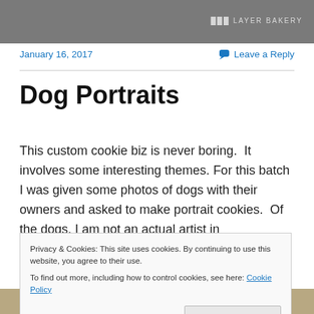[Figure (photo): Top photo showing a baked cookie/dessert on a plate with bakery watermark text visible]
January 16, 2017
Leave a Reply
Dog Portraits
This custom cookie biz is never boring.  It involves some interesting themes. For this batch I was given some photos of dogs with their owners and asked to make portrait cookies.  Of the dogs. I am not an actual artist in
Privacy & Cookies: This site uses cookies. By continuing to use this website, you agree to their use.
To find out more, including how to control cookies, see here: Cookie Policy
Close and accept
[Figure (photo): Bottom partial photo showing cookies]